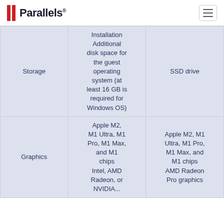Parallels
|  | Minimum | Recommended |
| --- | --- | --- |
| Storage | Installation
Additional disk space for the guest operating system (at least 16 GB is required for Windows OS) | SSD drive |
| Graphics | Apple M2, M1 Ultra, M1 Pro, M1 Max, and M1 chips
Intel, AMD Radeon, or NVIDIA... | Apple M2, M1 Ultra, M1 Pro, M1 Max, and M1 chips
AMD Radeon Pro graphics... |